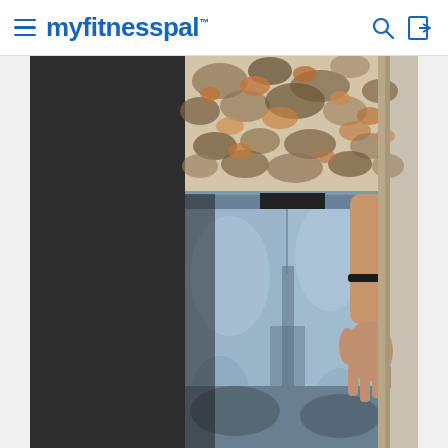myfitnesspal
[Figure (photo): A person from torso to lower legs, wearing a camouflage patterned shirt with brown/orange tones and light blue jeans. The person's right hand is visible at their side with a dark bracelet on their wrist. The background shows a dark area on the left and a lighter door frame on the right. The lower portion of the jeans transitions to a darker blue near the floor.]